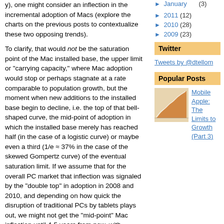y), one might consider an inflection in the incremental adoption of Macs (explore the charts on the previous posts to contextualize these two opposing trends).
To clarify, that would not be the saturation point of the Mac installed base, the upper limit or "carrying capacity," where Mac adoption would stop or perhaps stagnate at a rate comparable to population growth, but the moment when new additions to the installed base begin to decline, i.e. the top of that bell-shaped curve, the mid-point of adoption in which the installed base merely has reached half (in the case of a logistic curve) or maybe even a third (1/e ≈ 37% in the case of the skewed Gompertz curve) of the eventual saturation limit. If we assume that for the overall PC market that inflection was signaled by the "double top" in adoption in 2008 and 2010, and depending on how quick the disruption of traditional PCs by tablets plays out, we might not get the "mid-point" Mac inflection until 4-5 years from now, with several more years, perhaps even decades of continued but slowing expansion after that (unless that old form factor gets radically disrupted in which case we'd get declines in the installed base, see the next section on iPod for an example of this). Given this long lifecycle of 5 years, the installed base can continue to expand for several years even under Y/Y sales declines.
January (3)
2011 (12)
2010 (28)
2009 (23)
Twitter
Tweets by @dtellom
Popular Posts
[Figure (other): Thumbnail image for Mobile Apple post showing an area/bar chart with orange shading]
Mobile Apple: The Limits to Growth (Part 3)